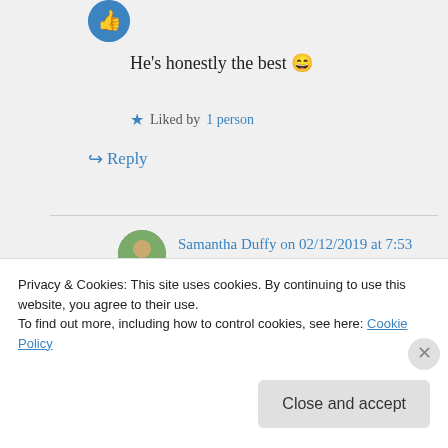He's honestly the best 😄
★ Liked by 1 person
↪ Reply
Samantha Duffy on 02/12/2019 at 7:53 am
I don't know if you know, but if you really can't wait to read what
Privacy & Cookies: This site uses cookies. By continuing to use this website, you agree to their use.
To find out more, including how to control cookies, see here: Cookie Policy
Close and accept